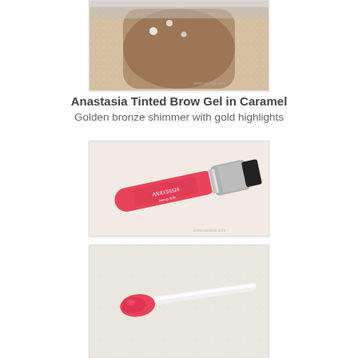[Figure (photo): Partial view of an Anastasia brow gel product with shimmer, photographed on glittery white surface]
Anastasia Tinted Brow Gel in Caramel
Golden bronze shimmer with gold highlights
[Figure (photo): Anastasia Beauty Hills tinted brow gel tube with silver cap, pink/red tube body, lying diagonally on cream background]
[Figure (photo): Close-up of a lip gloss or brow gel applicator wand with red/coral product on it, on glittery white background]